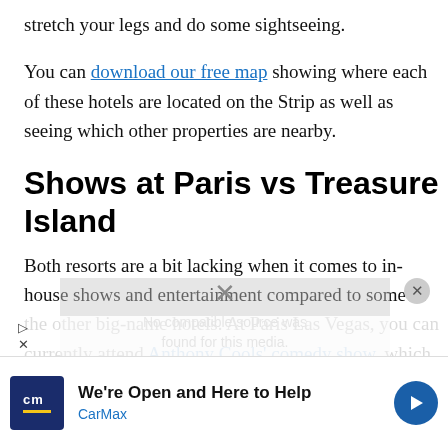stretch your legs and do some sightseeing.
You can download our free map showing where each of these hotels are located on the Strip as well as seeing which other properties are nearby.
Shows at Paris vs Treasure Island
Both resorts are a bit lacking when it comes to in-house shows and entertainment compared to some of the other big-name hotels. At Paris Las Vegas, you can currently attend Anthony Cools' comedy show, which is an adult-oriented mixture of raunchy humor
[Figure (other): CarMax advertisement overlay: 'We're Open and Here to Help' with CarMax branding and logo, alongside a video player showing 'No compatible source was found for this media' error with Bellagio vs Venetian related content visible]